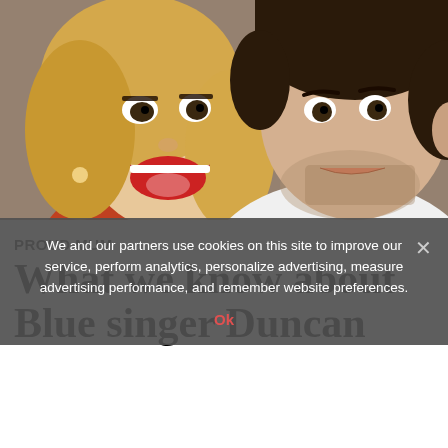[Figure (photo): Selfie photo of two people close together: a smiling blonde woman with her mouth open wide on the left, and a dark-haired young man with stubble on the right wearing a white shirt.]
PROUD MUM
What we know about Blue singer Duncan
We and our partners use cookies on this site to improve our service, perform analytics, personalize advertising, measure advertising performance, and remember website preferences.